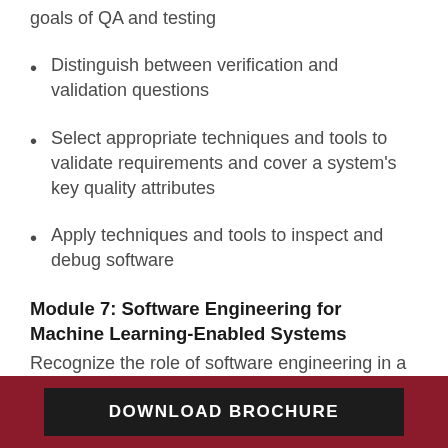goals of QA and testing
Distinguish between verification and validation questions
Select appropriate techniques and tools to validate requirements and cover a system's key quality attributes
Apply techniques and tools to inspect and debug software
Module 7: Software Engineering for Machine Learning-Enabled Systems
Recognize the role of software engineering in a machine learning (ML) project. Acquire the essential
DOWNLOAD BROCHURE